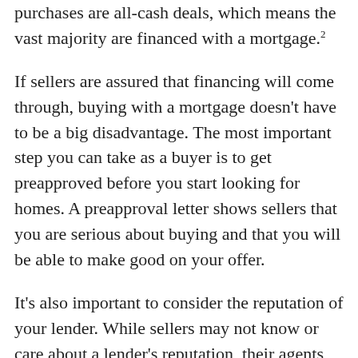purchases are all-cash deals, which means the vast majority are financed with a mortgage.²
If sellers are assured that financing will come through, buying with a mortgage doesn't have to be a big disadvantage. The most important step you can take as a buyer is to get preapproved before you start looking for homes. A preapproval letter shows sellers that you are serious about buying and that you will be able to make good on your offer.
It's also important to consider the reputation of your lender. While sellers may not know or care about a lender's reputation, their agents often do. Some lenders are much easier to work with than others, especially if you are pursuing certain types of mortgages like FHA or VA loans.³  If so, you'll want a lender who specializes in these types of mortgages. If you're unsure who to choose, we are happy to refer you to reputable lenders known for their ease of